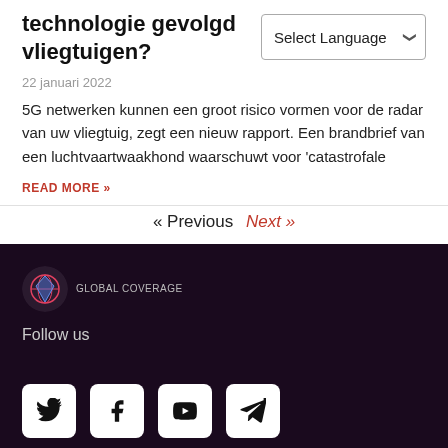technologie gevolgd... vliegtuigen?
22 januari 2022
5G netwerken kunnen een groot risico vormen voor de radar van uw vliegtuig, zegt een nieuw rapport. Een brandbrief van een luchtvaartwaakhond waarschuwt voor 'catastrofale
READ MORE »
« Previous   Next »
[Figure (logo): Colorful globe/diamond logo with small text]
Follow us
[Figure (infographic): Social media icons: Twitter, Facebook, YouTube, Telegram]